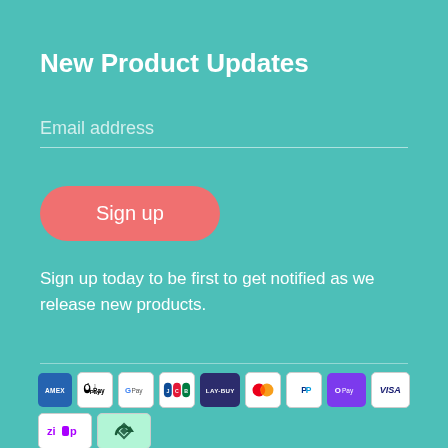New Product Updates
Email address
Sign up
Sign up today to be first to get notified as we release new products.
[Figure (logo): Payment method icons: AMEX, Apple Pay, Google Pay, JCB, LAY-BUY, Mastercard, PayPal, OPay, VISA, Zip, Afterpay]